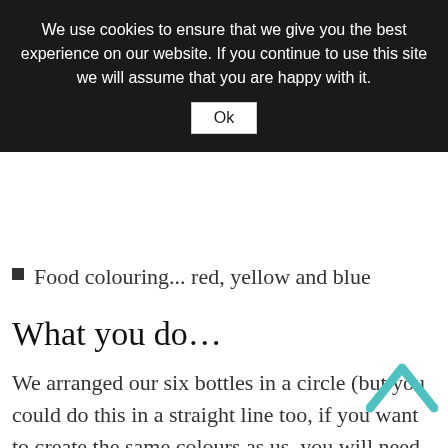We use cookies to ensure that we give you the best experience on our website. If you continue to use this site we will assume that you are happy with it.
Ok
Food colouring... red, yellow and blue
What you do…
We arranged our six bottles in a circle (but you could do this in a straight line too, if you want to create the same colours as us, you will need seven bottles in a straight line, with one colour repeated… think about it 😉 )
Half fill every second bottle with water, leave the other bottles in between empty.
Add a few drops of food colouring to each bottle containing water, red in one, yellow in